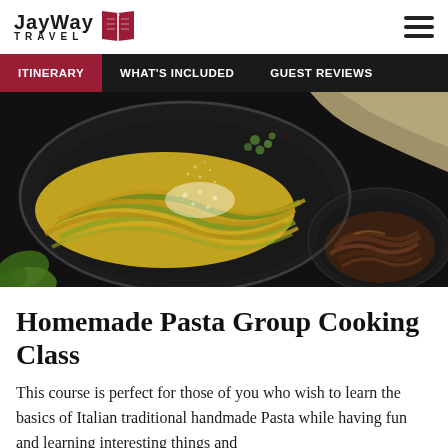JayWay Travel — ITINERARY | WHAT'S INCLUDED | GUEST REVIEWS
[Figure (photo): Two dark pans with freshly made Italian pasta — yellow-green fettuccine with grated cheese in a large skillet and dark braised mushroom pasta in a round pan, on a dark kitchen surface.]
Homemade Pasta Group Cooking Class
This course is perfect for those of you who wish to learn the basics of Italian traditional handmade Pasta while having fun and learning interesting things and